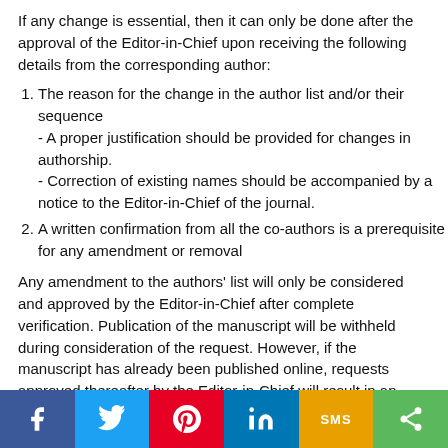If any change is essential, then it can only be done after the approval of the Editor-in-Chief upon receiving the following details from the corresponding author:
1. The reason for the change in the author list and/or their sequence
- A proper justification should be provided for changes in authorship.
- Correction of existing names should be accompanied by a notice to the Editor-in-Chief of the journal.
2. A written confirmation from all the co-authors is a prerequisite for any amendment or removal
Any amendment to the authors' list will only be considered and approved by the Editor-in-Chief after complete verification. Publication of the manuscript will be withheld during consideration of the request. However, if the manuscript has already been published online, requests approved thereafter by the Editor-in-Chief will result in an erratum or corrigendum. The corresponding author is responsible for obtaining permission from all co-authors for any changes in the authorship.
Here is some advice by COPE on authorship issues. Bentham strives to follow these guidelines.
[Figure (infographic): Social media sharing bar with icons for Facebook, Twitter, Pinterest, LinkedIn, SMS, and Share]